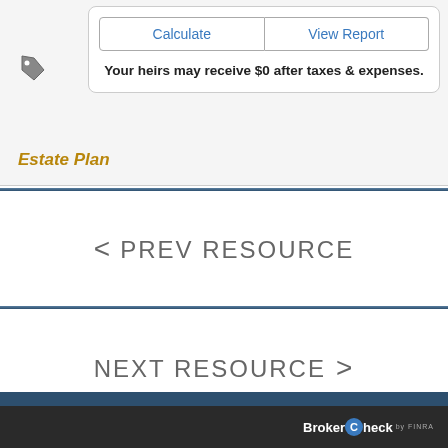[Figure (screenshot): UI card with Calculate and View Report buttons and text 'Your heirs may receive $0 after taxes & expenses.']
Estate Plan
< PREV RESOURCE
NEXT RESOURCE >
[Figure (logo): BrokerCheck by FINRA logo in footer]